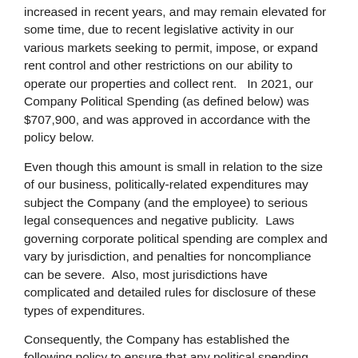increased in recent years, and may remain elevated for some time, due to recent legislative activity in our various markets seeking to permit, impose, or expand rent control and other restrictions on our ability to operate our properties and collect rent.   In 2021, our Company Political Spending (as defined below) was $707,900, and was approved in accordance with the policy below.
Even though this amount is small in relation to the size of our business, politically-related expenditures may subject the Company (and the employee) to serious legal consequences and negative publicity.  Laws governing corporate political spending are complex and vary by jurisdiction, and penalties for noncompliance can be severe.  Also, most jurisdictions have complicated and detailed rules for disclosure of these types of expenditures.
Consequently, the Company has established the following policy to ensure that any political spending activity by the Company is done in a transparent and legal manner that clearly serves the interests of the Company as a whole and its shareholders:
Unless approved in advance by the Chief Executive Officer